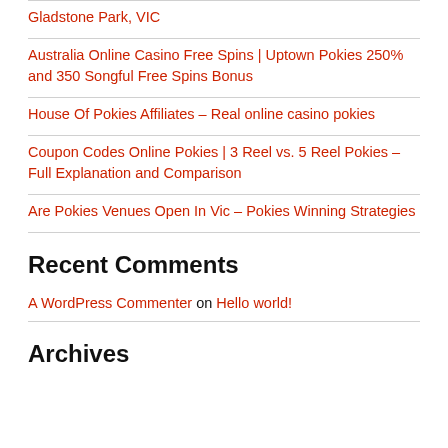Gladstone Park, VIC
Australia Online Casino Free Spins | Uptown Pokies 250% and 350 Songful Free Spins Bonus
House Of Pokies Affiliates – Real online casino pokies
Coupon Codes Online Pokies | 3 Reel vs. 5 Reel Pokies – Full Explanation and Comparison
Are Pokies Venues Open In Vic – Pokies Winning Strategies
Recent Comments
A WordPress Commenter on Hello world!
Archives